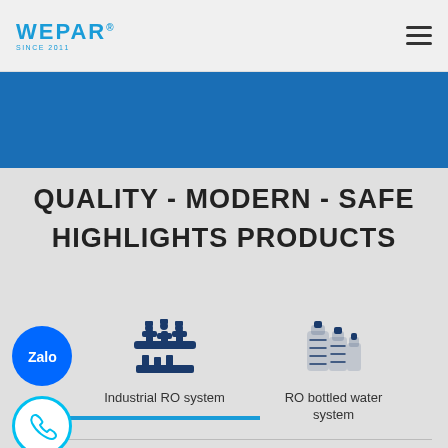WEPAR SINCE 2011
[Figure (logo): WEPAR logo with SINCE 2011 tagline in blue, hamburger menu icon on right]
[Figure (illustration): Blue horizontal banner / decorative stripe]
QUALITY - MODERN - SAFE
HIGHLIGHTS PRODUCTS
[Figure (infographic): Industrial RO system icon - line art of industrial pipes and equipment in dark blue]
Industrial RO system
[Figure (infographic): RO bottled water system icon - line art of water bottles in dark blue]
RO bottled water system